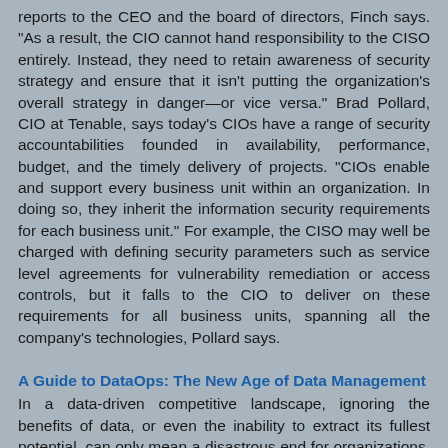reports to the CEO and the board of directors, Finch says. “As a result, the CIO cannot hand responsibility to the CISO entirely. Instead, they need to retain awareness of security strategy and ensure that it isn’t putting the organization’s overall strategy in danger—or vice versa.” Brad Pollard, CIO at Tenable, says today’s CIOs have a range of security accountabilities founded in availability, performance, budget, and the timely delivery of projects. “CIOs enable and support every business unit within an organization. In doing so, they inherit the information security requirements for each business unit.” For example, the CISO may well be charged with defining security parameters such as service level agreements for vulnerability remediation or access controls, but it falls to the CIO to deliver on these requirements for all business units, spanning all the company’s technologies, Pollard says.
A Guide to DataOps: The New Age of Data Management
In a data-driven competitive landscape, ignoring the benefits of data, or even the inability to extract its fullest potential, can only mean a disastrous end for organizations. To be sure,